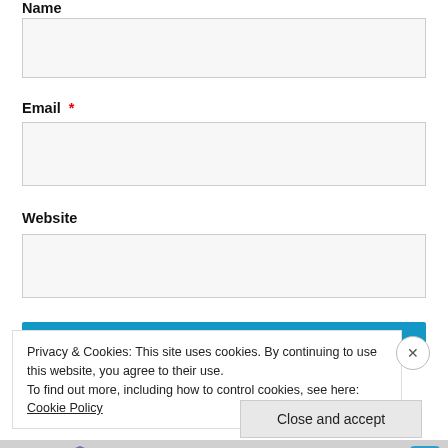Name
[Figure (screenshot): Empty text input field for Name]
Email *
[Figure (screenshot): Empty text input field for Email]
Website
[Figure (screenshot): Empty text input field for Website]
Privacy & Cookies: This site uses cookies. By continuing to use this website, you agree to their use. To find out more, including how to control cookies, see here: Cookie Policy
Close and accept